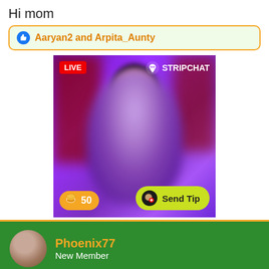Hi mom
Aaryan2 and Arpita_Aunty
[Figure (screenshot): Stripchat LIVE streaming screenshot showing a blurred female streamer with purple background, LIVE badge top-left, STRIPCHAT logo top-right, coin balance of 50 bottom-left, Send Tip button bottom-right]
Phoenix77
New Member